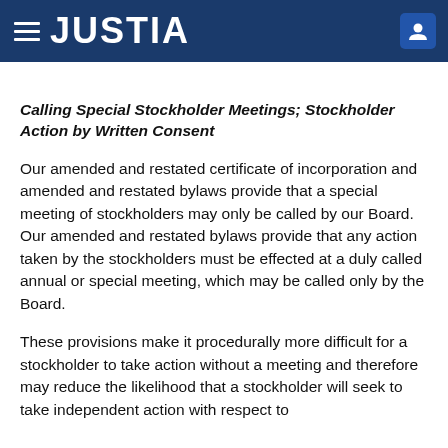JUSTIA
Calling Special Stockholder Meetings; Stockholder Action by Written Consent
Our amended and restated certificate of incorporation and amended and restated bylaws provide that a special meeting of stockholders may only be called by our Board. Our amended and restated bylaws provide that any action taken by the stockholders must be effected at a duly called annual or special meeting, which may be called only by the Board.
These provisions make it procedurally more difficult for a stockholder to take action without a meeting and therefore may reduce the likelihood that a stockholder will seek to take independent action with respect to